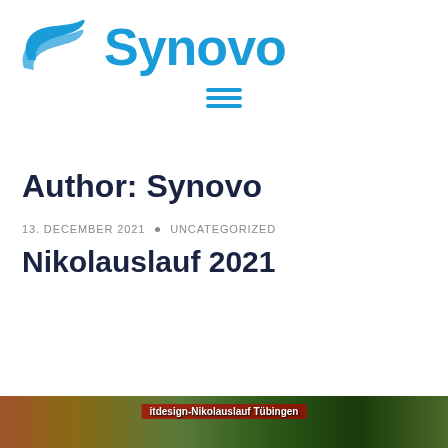[Figure (logo): Synovo company logo with blue swoosh icon and blue 'Synovo' wordmark text]
[Figure (other): Hamburger menu icon with three horizontal blue lines]
Author: Synovo
13. DECEMBER 2021 · UNCATEGORIZED
Nikolauslauf 2021
[Figure (photo): Thumbnail photo showing outdoor scene with text overlay 'itdesign-Nikolauslauf Tübingen']